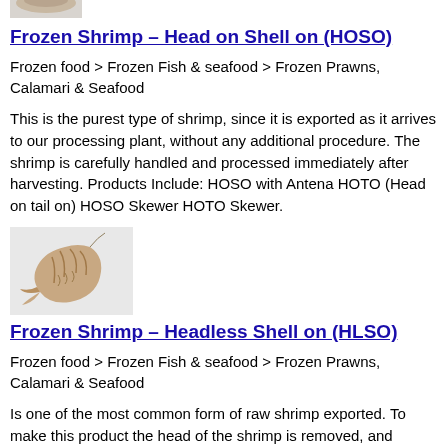[Figure (photo): Partial image of frozen shrimp product at top of page (cropped)]
Frozen Shrimp – Head on Shell on (HOSO)
Frozen food > Frozen Fish & seafood > Frozen Prawns, Calamari & Seafood
This is the purest type of shrimp, since it is exported as it arrives to our processing plant, without any additional procedure. The shrimp is carefully handled and processed immediately after harvesting. Products Include: HOSO with Antena HOTO (Head on tail on) HOSO Skewer HOTO Skewer.
[Figure (photo): Photo of a single headless shell-on shrimp against a light gray background]
Frozen Shrimp – Headless Shell on (HLSO)
Frozen food > Frozen Fish & seafood > Frozen Prawns, Calamari & Seafood
Is one of the most common form of raw shrimp exported. To make this product the head of the shrimp is removed, and everything else